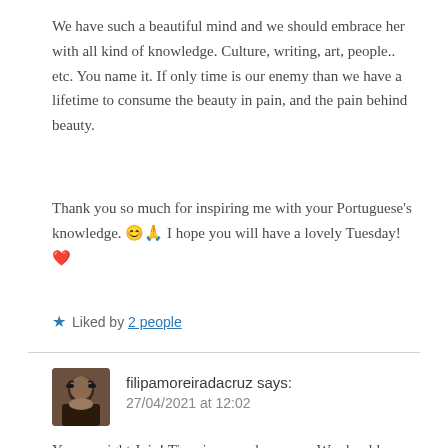We have such a beautiful mind and we should embrace her with all kind of knowledge. Culture, writing, art, people.. etc. You name it. If only time is our enemy than we have a lifetime to consume the beauty in pain, and the pain behind beauty.
Thank you so much for inspiring me with your Portuguese's knowledge. 😊🙏 I hope you will have a lovely Tuesday! ❤
★ Liked by 2 people
filipamoreiradacruz says:
27/04/2021 at 12:02
You are right Jojo! Time is our only enemy. We should embrace all the challenges and let our